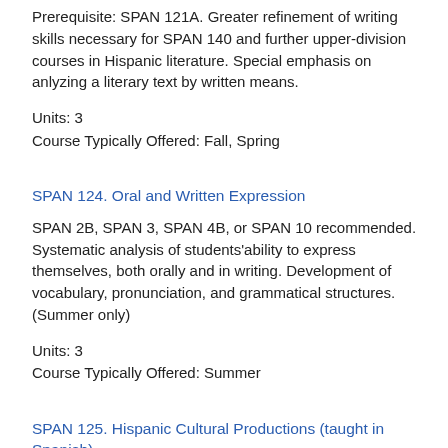Prerequisite: SPAN 121A. Greater refinement of writing skills necessary for SPAN 140 and further upper-division courses in Hispanic literature. Special emphasis on anlyzing a literary text by written means.
Units: 3
Course Typically Offered: Fall, Spring
SPAN 124. Oral and Written Expression
SPAN 2B, SPAN 3, SPAN 4B, or SPAN 10 recommended. Systematic analysis of students'ability to express themselves, both orally and in writing. Development of vocabulary, pronunciation, and grammatical structures. (Summer only)
Units: 3
Course Typically Offered: Summer
SPAN 125. Hispanic Cultural Productions (taught in Spanish)